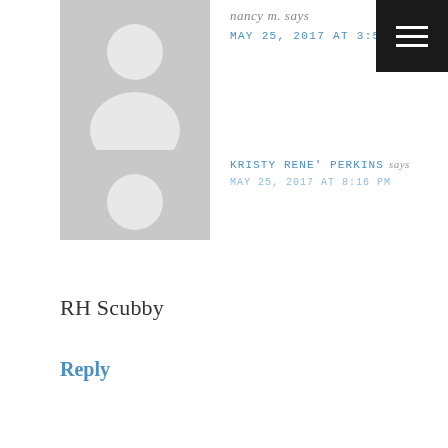[Figure (other): Hamburger menu button (dark background, three white lines)]
[Figure (other): Default user avatar placeholder (gray background with white silhouette)]
nancy m. says
MAY 25, 2017 AT 3:57 PM
RH Scubby
Reply
[Figure (other): Default user avatar placeholder (gray background with white silhouette, partially visible)]
KRISTY RENE' PERKINS says
MAY 25, 2017 AT 8:16 PM